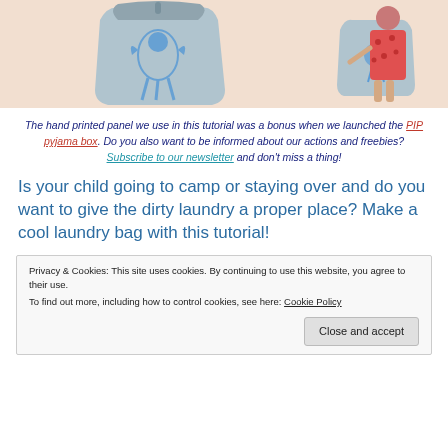[Figure (photo): Two grey drawstring laundry bags with blue printed animals on a peachy background; one bag shown alone on the left and one held by a young girl in a red printed dress on the right.]
The hand printed panel we use in this tutorial was a bonus when we launched the PIP pyjama box. Do you also want to be informed about our actions and freebies? Subscribe to our newsletter and don't miss a thing!
Is your child going to camp or staying over and do you want to give the dirty laundry a proper place? Make a cool laundry bag with this tutorial!
Privacy & Cookies: This site uses cookies. By continuing to use this website, you agree to their use. To find out more, including how to control cookies, see here: Cookie Policy
Close and accept